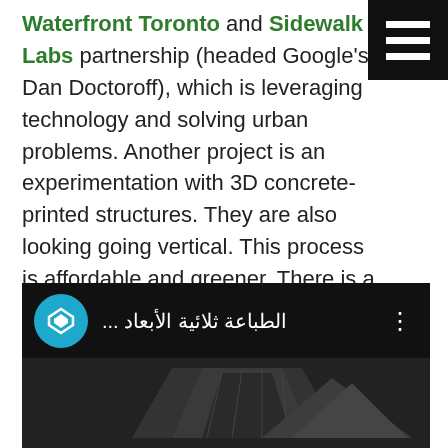Waterfront Toronto and Sidewalk Labs partnership (headed Google's Dan Doctoroff), which is leveraging technology and solving urban problems. Another project is an experimentation with 3D concrete-printed structures. They are also looking going vertical. This process is affordable and greener. There is a concept office building in Dubai that even has some printed furniture.
[Figure (screenshot): A video thumbnail showing an Arabic-language video titled 'الطباعة ثلائية الأبعاد ...' with a blue circular channel icon featuring a diamond/arrow logo, three-dot menu, and a dark preview image below.]